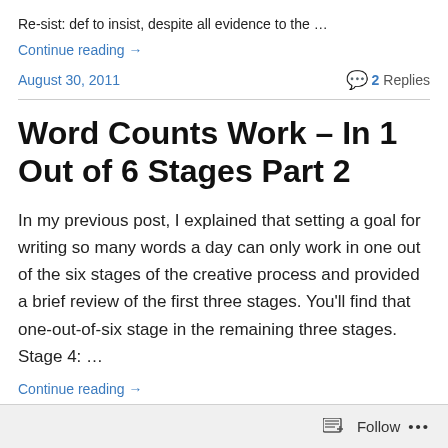Re-sist: def to insist, despite all evidence to the …
Continue reading →
August 30, 2011
💬 2 Replies
Word Counts Work – In 1 Out of 6 Stages Part 2
In my previous post, I explained that setting a goal for writing so many words a day can only work in one out of the six stages of the creative process and provided a brief review of the first three stages. You'll find that one-out-of-six stage in the remaining three stages. Stage 4: …
Continue reading →
Follow …